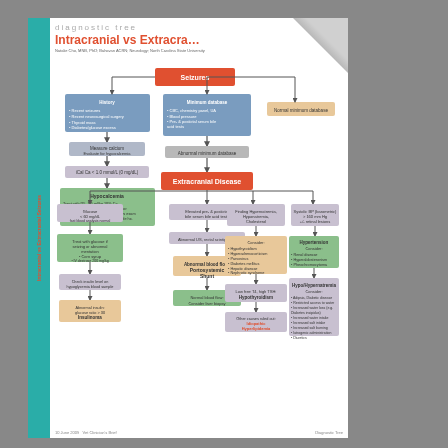diagnostic tree
Intracranial vs Extracranial Seizures
Natalie Cho, MNB, PhD; Bahavan ACRN; Neurology; North Carolina State University
[Figure (flowchart): Diagnostic flowchart for Intracranial vs Extracranial Seizures. Starting node: Seizures (orange). Branches to History box (blue, bullet points: Recent seizures, Recent neurosurgical surgery, Thyroid mass, Diabetes/glucose excess), Minimum database box (blue: CBC, chemistry panel, UA, Blood pressure, Pre- & postictal serum bile acid tests), and a peach Normal minimum database box. History box leads to Measure calcium (gray). Minimum database leads to Abnormal minimum database (gray). Measure calcium leads to iCal Ca < 1.0 mmol/L (gray). iCal Ca leads to Rx/Hypocalcemia box (green). Abnormal minimum database leads to Extracranial Disease (orange). Below Extracranial Disease branch into four columns: 1) Glucose <60 mg/dL, fast blood analysis normal -> Treat with glucose if seizing or abnormal mentation, Corn syrup, IV dextrose 200 mg/kg dilute 50% dextrose to 10% -> Check insulin level on hypoglycemia blood sample -> Abnormal insulin:glucose ratio > 30 = Insulinoma. 2) Elevated pre- & postictal bile serum bile acid tests -> Abnormal US, rectal scintigraphy -> Abnormal blood flow: Portosystemic Shunt -> Normal blood flow: Consider liver biopsy. 3) Finding Hypernatremia, Hyponatremia, Cholesterol -> Consider Hypothyroidism, Hyperadrencorticism, Parvovirus, Diabetes mellitus, Hepatic disease, Nephrotic syndrome -> Low free T4, high TSH: Hypothyroidism -> Other causes ruled out: Idiopathic Hyperlipidemia. 4) Systolic BP (barometric) >160 mm Hg, +/- retinal lesions -> Hypertension: Consider Renal disease, Hyperaldosteronism, Pheochromocytoma -> Dx: Hypo/Hypernatremia: Consider Adipsia, Diabetic disease, Restricted access to water, Increased water loss (e.g. Diabetes insipidus), Increased water intake, Increased salt intake, Increased salt burning, Iatrogenic administration, Diuretics]
10 June 2009   Vet Clinician's Brief   Diagnostic Tree